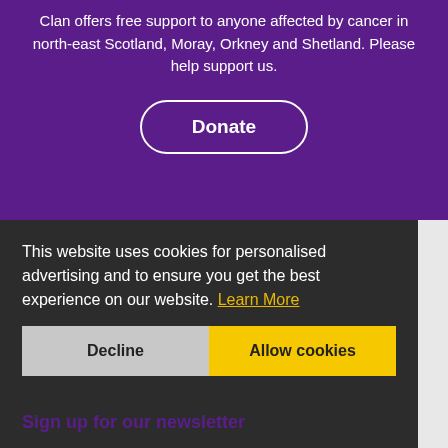Clan offers free support to anyone affected by cancer in north-east Scotland, Moray, Orkney and Shetland. Please help support us.
[Figure (other): Donate button - white rounded rectangle border button with text 'Donate' on purple background]
This website uses cookies for personalised advertising and to ensure you get the best experience on our website. Learn More
[Figure (other): Decline and Allow cookies buttons in cookie consent banner]
Sign up for our newsletter